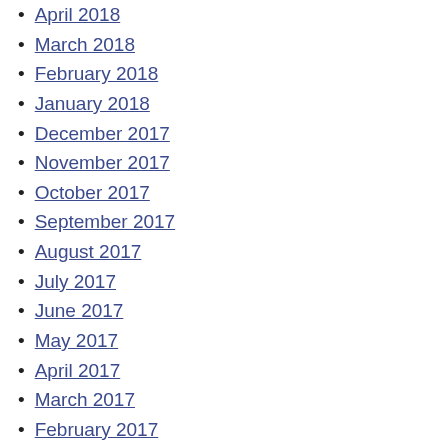April 2018
March 2018
February 2018
January 2018
December 2017
November 2017
October 2017
September 2017
August 2017
July 2017
June 2017
May 2017
April 2017
March 2017
February 2017
January 2017
December 2016
November 2016
October 2016
September 2016
August 2016
July 2016